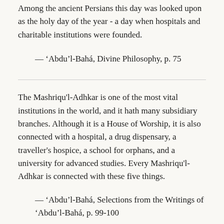Among the ancient Persians this day was looked upon as the holy day of the year - a day when hospitals and charitable institutions were founded.
— ‘Abdu’l-Bahá, Divine Philosophy, p. 75
The Mashriqu'l-Adhkar is one of the most vital institutions in the world, and it hath many subsidiary branches. Although it is a House of Worship, it is also connected with a hospital, a drug dispensary, a traveller's hospice, a school for orphans, and a university for advanced studies. Every Mashriqu'l-Adhkar is connected with these five things.
— ‘Abdu’l-Bahá, Selections from the Writings of ‘Abdu’l-Bahá, p. 99-100
This is the basic principle on which the institution of